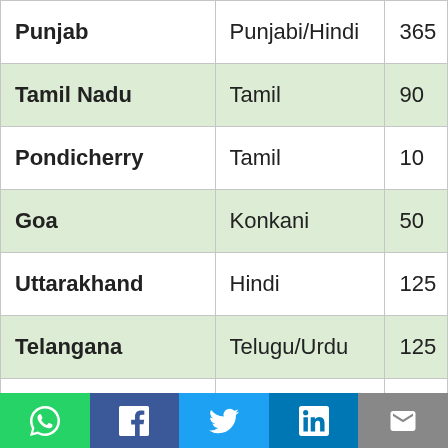| Punjab | Punjabi/Hindi | 365 |
| Tamil Nadu | Tamil | 90 |
| Pondicherry | Tamil | 10 |
| Goa | Konkani | 50 |
| Uttarakhand | Hindi | 125 |
| Telangana | Telugu/Urdu | 125 |
| Rajasthan | Hindi | 650 |
| Kerala | Malayalam | 75 |